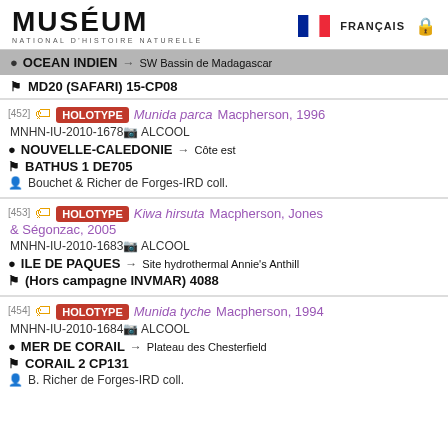MUSÉUM NATIONAL D'HISTOIRE NATURELLE | FRANÇAIS
OCEAN INDIEN → SW Bassin de Madagascar
MD20 (SAFARI) 15-CP08
[452] HOLOTYPE Munida parca Macpherson, 1996 MNHN-IU-2010-1678 ALCOOL
NOUVELLE-CALEDONIE → Côte est
BATHUS 1 DE705
Bouchet & Richer de Forges-IRD coll.
[453] HOLOTYPE Kiwa hirsuta Macpherson, Jones & Ségonzac, 2005 MNHN-IU-2010-1683 ALCOOL
ILE DE PAQUES → Site hydrothermal Annie's Anthill
(Hors campagne INVMAR) 4088
[454] HOLOTYPE Munida tyche Macpherson, 1994 MNHN-IU-2010-1684 ALCOOL
MER DE CORAIL → Plateau des Chesterfield
CORAIL 2 CP131
B. Richer de Forges-IRD coll.